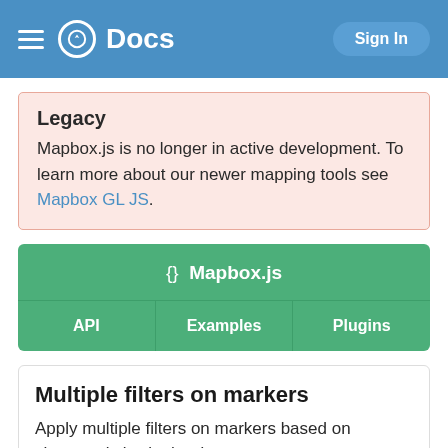Docs   Sign In
Legacy
Mapbox.js is no longer in active development. To learn more about our newer mapping tools see Mapbox GL JS.
{} Mapbox.js
API
Examples
Plugins
Multiple filters on markers
Apply multiple filters on markers based on characteristics in the data.
[Figure (map): Map preview showing Saskatchewan and Manitoba regions with a + button and Show all button]